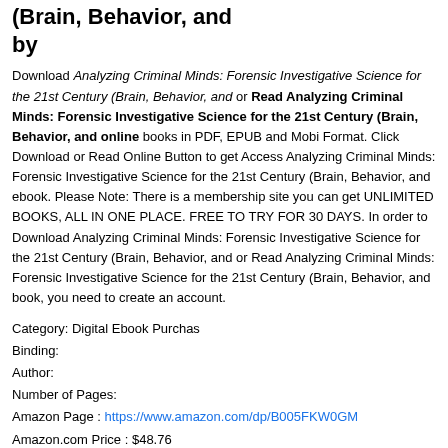(Brain, Behavior, and
by
Download Analyzing Criminal Minds: Forensic Investigative Science for the 21st Century (Brain, Behavior, and or Read Analyzing Criminal Minds: Forensic Investigative Science for the 21st Century (Brain, Behavior, and online books in PDF, EPUB and Mobi Format. Click Download or Read Online Button to get Access Analyzing Criminal Minds: Forensic Investigative Science for the 21st Century (Brain, Behavior, and ebook. Please Note: There is a membership site you can get UNLIMITED BOOKS, ALL IN ONE PLACE. FREE TO TRY FOR 30 DAYS. In order to Download Analyzing Criminal Minds: Forensic Investigative Science for the 21st Century (Brain, Behavior, and or Read Analyzing Criminal Minds: Forensic Investigative Science for the 21st Century (Brain, Behavior, and book, you need to create an account.
Category: Digital Ebook Purchas
Binding:
Author:
Number of Pages:
Amazon Page : https://www.amazon.com/dp/B005FKW0GM
Amazon.com Price : $48.76
Lowest Price : $
Total Offers :
Rating: 4.7